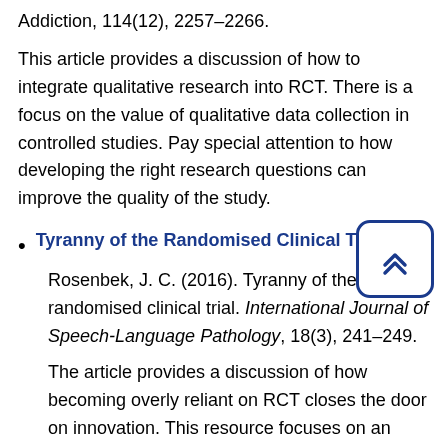Addiction, 114(12), 2257–2266.
This article provides a discussion of how to integrate qualitative research into RCT. There is a focus on the value of qualitative data collection in controlled studies. Pay special attention to how developing the right research questions can improve the quality of the study.
Tyranny of the Randomised Clinical Trial
Rosenbek, J. C. (2016). Tyranny of the randomised clinical trial. International Journal of Speech-Language Pathology, 18(3), 241–249.
The article provides a discussion of how becoming overly reliant on RCT closes the door on innovation. This resource focuses on an argument for the importance of biopsychosocial model studies rather than a strict focus on medical model studies. Pay